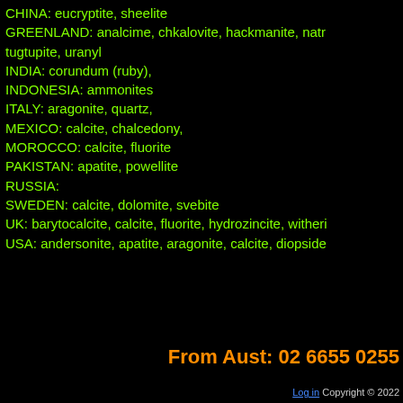CHINA: eucryptite, sheelite
GREENLAND: analcime, chkalovite, hackmanite, natr tugtupite, uranyl
INDIA: corundum (ruby),
INDONESIA: ammonites
ITALY: aragonite, quartz,
MEXICO: calcite, chalcedony,
MOROCCO: calcite, fluorite
PAKISTAN: apatite, powellite
RUSSIA:
SWEDEN: calcite, dolomite, svebite
UK: barytocalcite, calcite, fluorite, hydrozincite, witheri
USA: andersonite, apatite, aragonite, calcite, diopside
From Aust: 02 6655 0255
Log in Copyright © 2022